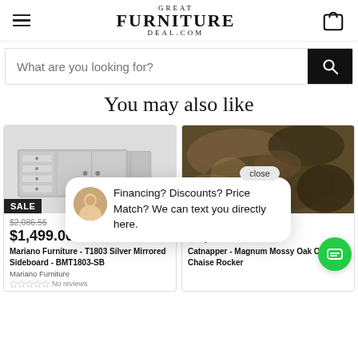Great Furniture Deal.com
What are you looking for?
You may also like
[Figure (photo): Mariano Furniture silver mirrored sideboard product photo]
Sale
$2,086.56
$1,499.00
Mariano Furniture - T1803 Silver Mirrored Sideboard - BMT1803-SB
Mariano Furniture
No reviews
[Figure (photo): Catnapper Magnum Mossy Oak Camo Chaise Rocker product photo]
Sale
$1,538.46
$1,098.90
Catnapper - Magnum Mossy Oak Camo Chaise Rocker
Financing? Discounts? Price Match? We can text you directly here.